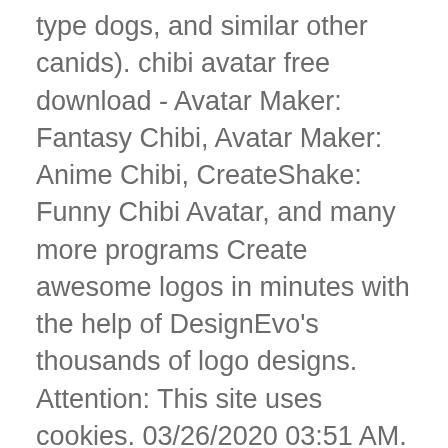type dogs, and similar other canids). chibi avatar free download - Avatar Maker: Fantasy Chibi, Avatar Maker: Anime Chibi, CreateShake: Funny Chibi Avatar, and many more programs Create awesome logos in minutes with the help of DesignEvo's thousands of logo designs. Attention: This site uses cookies. 03/26/2020 03:51 AM. Crush the competition! An easy-to-use design system allows you to select every aspect of your timeline design, so you have something unique and eye â ¦ An enemy is attacking Zak and Zuri's village! Create a character with expressions then dress it as you see best! :) Tags: animals - wolves - canine - mega hits Engine Independent. To design your own, choose a template that reflects your brand and customize it with your information. DARTH MAKER NAME GENERATOR When you absolutely need a villain for the Star Wars